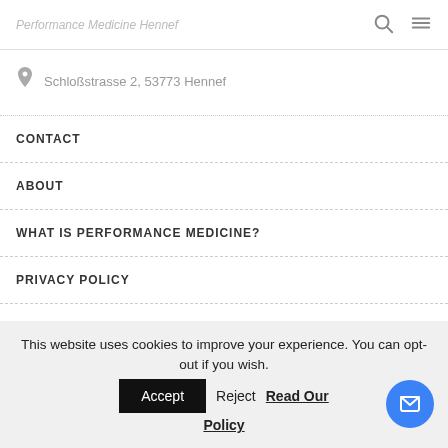[site logo/title — partially visible] [search icon] [menu icon]
Schloßstrasse 2, 53773 Hennef
CONTACT
ABOUT
WHAT IS PERFORMANCE MEDICINE?
PRIVACY POLICY
MOBILE BOAT CLINIC
This website uses cookies to improve your experience. You can opt-out if you wish. Accept  Reject  Read Our Policy